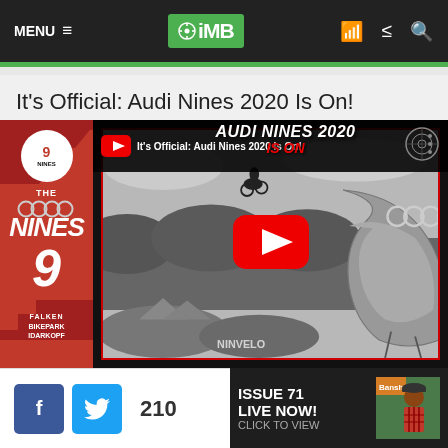MENU  iMB
It's Official: Audi Nines 2020 Is On!
[Figure (screenshot): YouTube video thumbnail for Audi Nines 2020 announcement, showing a BMX rider airborne over dirt jumps with a large curved ramp structure in the background. Red and black branding panel on left showing THE NINES 9 logo, Falken and Bikepark Idarkopf sponsors. Top bar reads 'It's Official: Audi Nines 2020 Is On!' and 'AUDI NINES 2020 IS ON'. Red YouTube play button in center.]
210
[Figure (screenshot): Advertisement banner: ISSUE 71 LIVE NOW! CLICK TO VIEW, with thumbnail of man in red plaid shirt wearing cap]